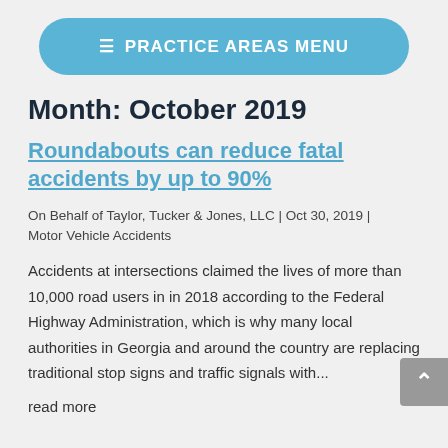≡ PRACTICE AREAS MENU
Month: October 2019
Roundabouts can reduce fatal accidents by up to 90%
On Behalf of Taylor, Tucker & Jones, LLC | Oct 30, 2019 | Motor Vehicle Accidents
Accidents at intersections claimed the lives of more than 10,000 road users in in 2018 according to the Federal Highway Administration, which is why many local authorities in Georgia and around the country are replacing traditional stop signs and traffic signals with... read more